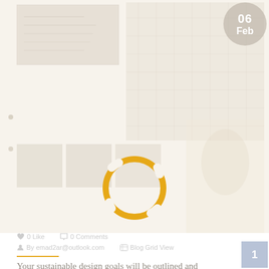[Figure (photo): Faded background photo of architectural/interior design workspace with blueprints and room layout]
06
Feb
[Figure (infographic): Orange circular loading/progress spinner ring]
0 Like
0 Comments
By emad2ar@outlook.com
Blog Grid View
Your sustainable design goals will be outlined and occupancy objectives will be discussed. A schedul for key activities. These days are all share then we me, oh kids, and its open California, all the...